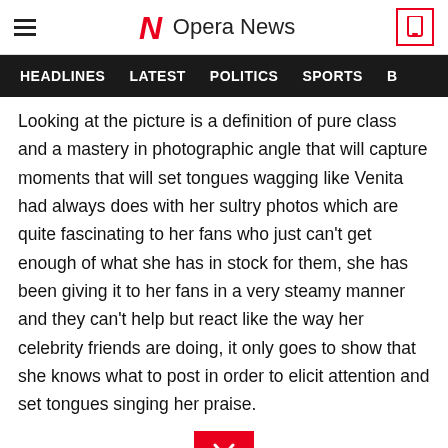Opera News
HEADLINES   LATEST   POLITICS   SPORTS
Looking at the picture is a definition of pure class and a mastery in photographic angle that will capture moments that will set tongues wagging like Venita had always does with her sultry photos which are quite fascinating to her fans who just can't get enough of what she has in stock for them, she has been giving it to her fans in a very steamy manner and they can't help but react like the way her celebrity friends are doing, it only goes to show that she knows what to post in order to elicit attention and set tongues singing her praise.
[Figure (other): Red button with downward chevron/arrow icon]